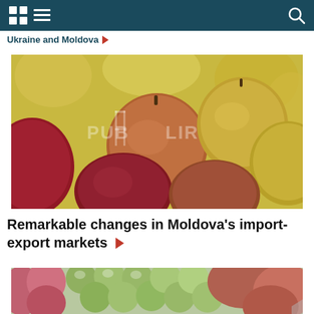Ukraine and Moldova
[Figure (photo): Close-up photo of red and green/yellow apples with a watermark overlay]
Remarkable changes in Moldova's import-export markets ▶
[Figure (photo): Close-up photo of green grapes and red apples]